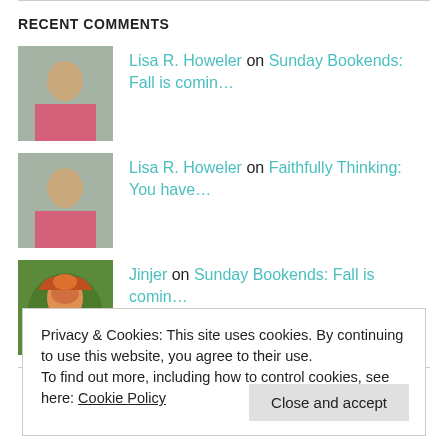RECENT COMMENTS
Lisa R. Howeler on Sunday Bookends: Fall is comin…
Lisa R. Howeler on Faithfully Thinking: You have…
Jinjer on Sunday Bookends: Fall is comin…
Privacy & Cookies: This site uses cookies. By continuing to use this website, you agree to their use.
To find out more, including how to control cookies, see here: Cookie Policy